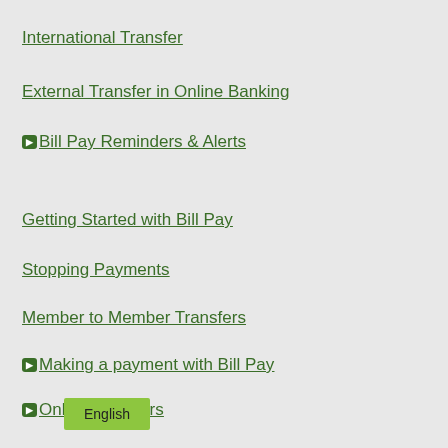International Transfer
External Transfer in Online Banking
Bill Pay Reminders & Alerts
Getting Started with Bill Pay
Stopping Payments
Member to Member Transfers
Making a payment with Bill Pay
Online Transfers
English